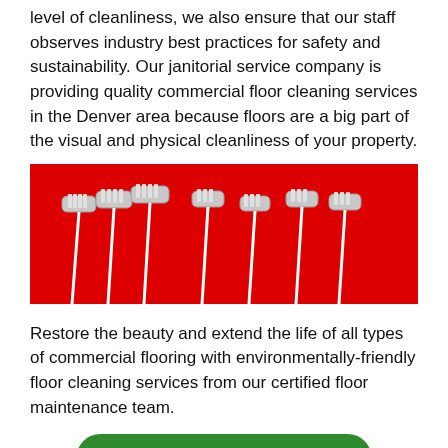level of cleanliness, we also ensure that our staff observes industry best practices for safety and sustainability. Our janitorial service company is providing quality commercial floor cleaning services in the Denver area because floors are a big part of the visual and physical cleanliness of your property.
[Figure (photo): Multiple mop heads on white handles arranged in a row against a bright red background, shown with the mop pads facing upward.]
Restore the beauty and extend the life of all types of commercial flooring with environmentally-friendly floor cleaning services from our certified floor maintenance team.